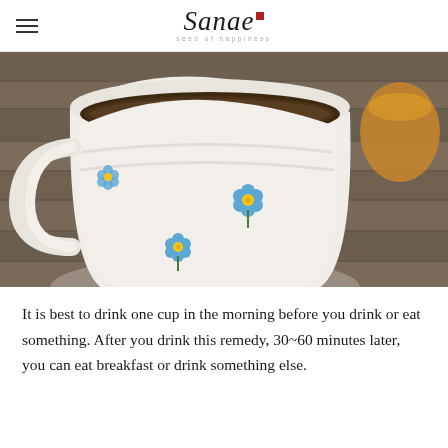Sanae — seed of happiness
[Figure (photo): A white ceramic mug with blue flower decorations filled with dark tea/remedy, sitting on a wooden surface. An amber jar is partially visible in the background.]
It is best to drink one cup in the morning before you drink or eat something. After you drink this remedy, 30~60 minutes later, you can eat breakfast or drink something else.